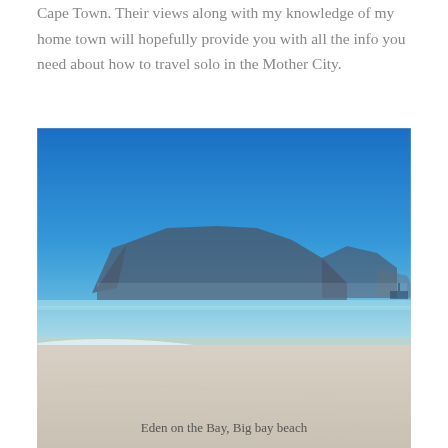Cape Town. Their views along with my knowledge of my home town will hopefully provide you with all the info you need about how to travel solo in the Mother City.
[Figure (photo): Coastal beach scene with white sandy beach, gentle waves, and Table Mountain in the background under a clear blue sky. Eden on the Bay, Big bay beach, Cape Town.]
Eden on the Bay, Big bay beach